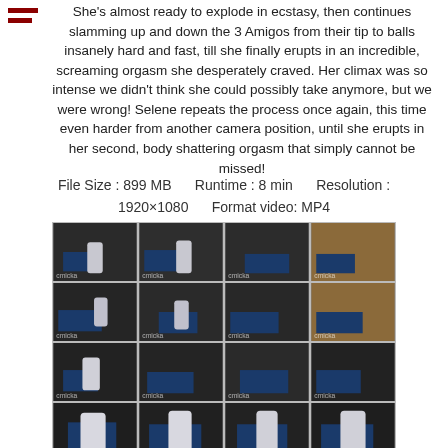She's almost ready to explode in ecstasy, then continues slamming up and down the 3 Amigos from their tip to balls insanely hard and fast, till she finally erupts in an incredible, screaming orgasm she desperately craved. Her climax was so intense we didn't think she could possibly take anymore, but we were wrong! Selene repeats the process once again, this time even harder from another camera position, until she erupts in her second, body shattering orgasm that simply cannot be missed!
File Size : 899 MB     Runtime : 8 min     Resolution : 1920×1080     Format video: MP4
[Figure (photo): Grid of 20 video thumbnail images arranged in 5 rows of 4 columns, each showing video preview stills with watermark text]